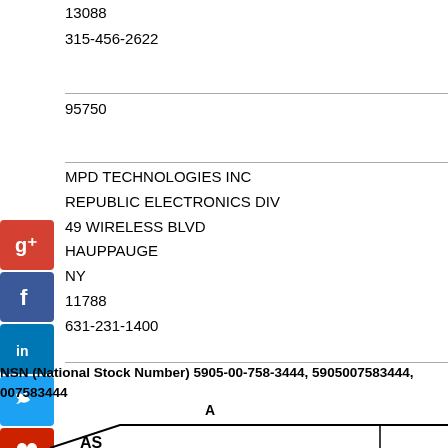13088
315-456-2622
95750
MPD TECHNOLOGIES INC
REPUBLIC ELECTRONICS DIV
49 WIRELESS BLVD
HAUPPAUGE
NY
11788
631-231-1400
NSN (National Stock Number) 5905-00-758-3444, 5905007583444, 007583444
[Figure (schematic): Partial engineering schematic showing label 'A' at top and partial diagram below with 'AS' visible at bottom left]